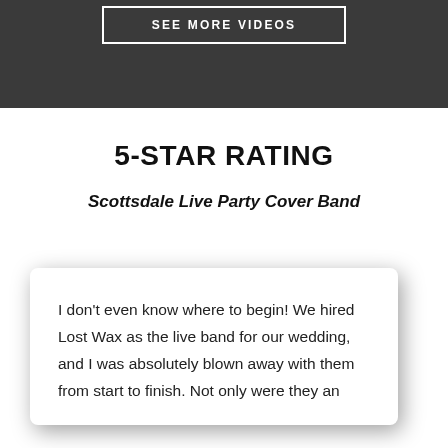SEE MORE VIDEOS
5-STAR RATING
Scottsdale Live Party Cover Band
I don't even know where to begin! We hired Lost Wax as the live band for our wedding, and I was absolutely blown away with them from start to finish. Not only were they an